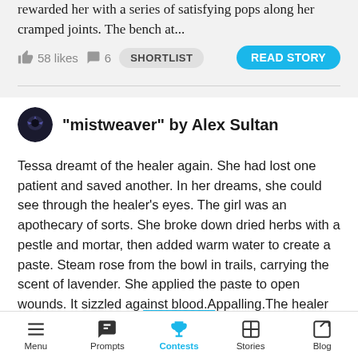rewarded her with a series of satisfying pops along her cramped joints. The bench at...
58 likes  6  SHORTLIST  READ STORY
“mistweaver” by Alex Sultan
Tessa dreamt of the healer again. She had lost one patient and saved another. In her dreams, she could see through the healer’s eyes. The girl was an apothecary of sorts. She broke down dried herbs with a pestle and mortar, then added warm water to create a paste. Steam rose from the bowl in trails, carrying the scent of lavender. She applied the paste to open wounds. It sizzled against blood.Appalling.The healer would listen to instructions, feel out spots on the patient’s skin, then poke with a fine needle. She line...
Menu  Prompts  Contests  Stories  Blog